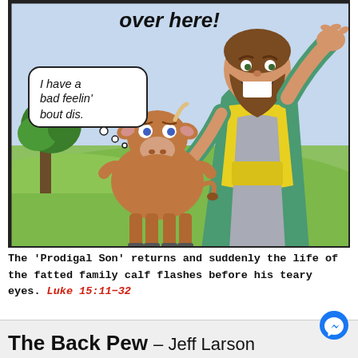[Figure (illustration): Comic panel illustration showing a bearded man in robes with arms raised cheerfully, and a brown calf standing next to him looking worried. Speech bubble from 'over here!' at top, and thought bubble from calf saying 'I have a bad feelin' bout dis.' Green field background with tree and blue sky.]
The 'Prodigal Son' returns and suddenly the life of the fatted family calf flashes before his teary eyes. Luke 15:11-32
The Back Pew – Jeff Larson